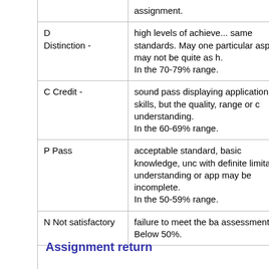| Grade | Description |
| --- | --- |
|  | assignment. |
| D Distinction - | high levels of achieve... same standards. May one particular aspect may not be quite as h. In the 70-79% range. |
| C Credit - | sound pass displaying application skills, but the quality, range or c understanding.
In the 60-69% range. |
| P Pass | acceptable standard, basic knowledge, unc with definite limitation understanding or app may be incomplete.
In the 50-59% range. |
| N Not satisfactory | failure to meet the ba assessment.
Below 50%. |
Assignment return